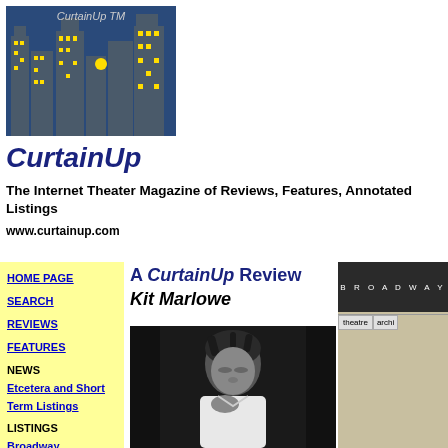[Figure (logo): CurtainUp logo showing illuminated city skyline with yellow windows on dark blue background, with text 'CurtainUp TM']
CurtainUp
The Internet Theater Magazine of Reviews, Features, Annotated Listings
www.curtainup.com
HOME PAGE
SEARCH
REVIEWS
FEATURES
NEWS Etcetera and Short Term Listings
LISTINGS Broadway Off Broadway
A CurtainUp Review Kit Marlowe
[Figure (photo): Black and white photo of a male performer with dark hair wearing a white shirt, eyes closed, hand on chest]
[Figure (screenshot): Broadway theatre archive panel showing dark header with 'BROADWAY' in spaced letters and tabs for 'theatre' and 'archi...']